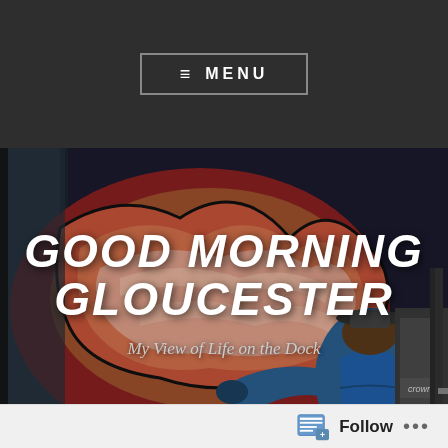≡ MENU
[Figure (illustration): Comic-book style illustration of a dock worker in a blue jacket and hat loading or unloading cargo, surrounded by red and cream colored material in an industrial container, with a Crown forklift visible on the right side.]
GOOD MORNING GLOUCESTER
My View of Life on the Dock
TAG: WILLOWDALE ESTATE FORCFIELD
Follow ...